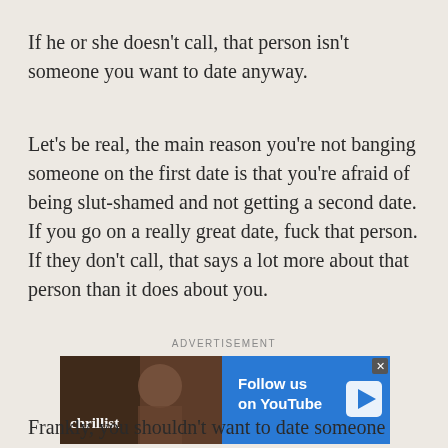If he or she doesn't call, that person isn't someone you want to date anyway.
Let's be real, the main reason you're not banging someone on the first date is that you're afraid of being slut-shamed and not getting a second date. If you go on a really great date, fuck that person. If they don't call, that says a lot more about that person than it does about you.
ADVERTISEMENT
[Figure (other): Advertisement banner for Thrillist YouTube channel showing a man eating food with blue 'Follow us on YouTube' call to action]
Frankly, you shouldn't want to date someone who